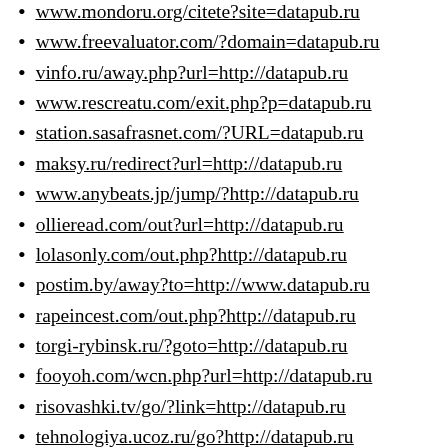www.mondoru.org/citete?site=datapub.ru
www.freevaluator.com/?domain=datapub.ru
vinfo.ru/away.php?url=http://datapub.ru
www.rescreatu.com/exit.php?p=datapub.ru
station.sasafrasnet.com/?URL=datapub.ru
maksy.ru/redirect?url=http://datapub.ru
www.anybeats.jp/jump/?http://datapub.ru
ollieread.com/out?url=http://datapub.ru
lolasonly.com/out.php?http://datapub.ru
postim.by/away?to=http://www.datapub.ru
rapeincest.com/out.php?http://datapub.ru
torgi-rybinsk.ru/?goto=http://datapub.ru
fooyoh.com/wcn.php?url=http://datapub.ru
risovashki.tv/go/?link=http://datapub.ru
tehnologiya.ucoz.ru/go?http://datapub.ru
pokupki21.ru/redir.php?http://datapub.ru
www.reformagkh.ru/away?to=www.datapub.ru
planetasp.ru/redirect.php?url=datapub.ru
forum.tamica.ru/go.php?http://datapub.ru